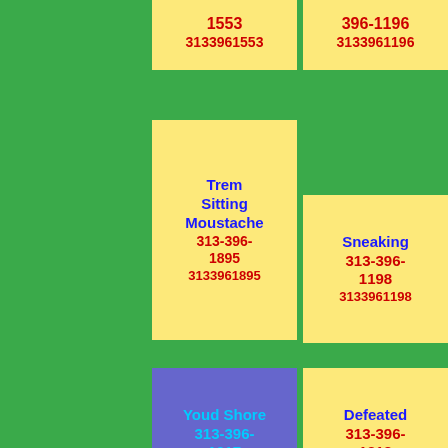1553 3133961553
396-1196 3133961196
396-1749 3133961749
Trem Sitting Moustache 313-396-1895 3133961895
Sneaking 313-396-1198 3133961198
Curse 313-396-1190 3133961190
Youd Shore 313-396-1017 3133961017
Defeated 313-396-1212 3133961212
Trances 313-396-1760 3133961760
Painful Unwrapped Trouble 313-396-1255 3133961255
Cauldron Airily 313-396-1692 3133961692
Faint Yehll 313-396-1457 3133961457